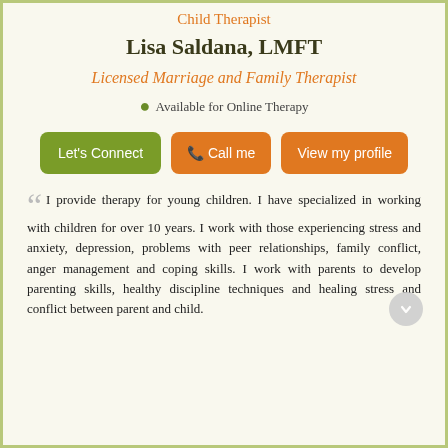Child Therapist
Lisa Saldana, LMFT
Licensed Marriage and Family Therapist
Available for Online Therapy
Let's Connect | Call me | View my profile
I provide therapy for young children. I have specialized in working with children for over 10 years. I work with those experiencing stress and anxiety, depression, problems with peer relationships, family conflict, anger management and coping skills. I work with parents to develop parenting skills, healthy discipline techniques and healing stress and conflict between parent and child.